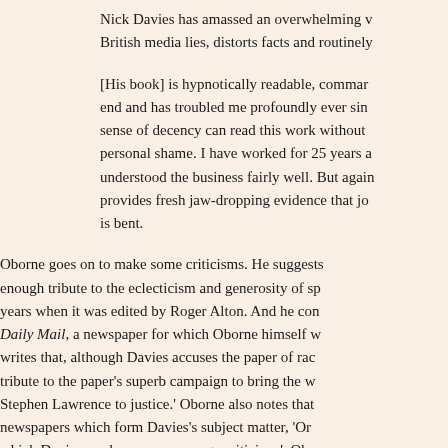Nick Davies has amassed an overwhelming v British media lies, distorts facts and routinely
[His book] is hypnotically readable, comman end and has troubled me profoundly ever sin sense of decency can read this work without personal shame. I have worked for 25 years a understood the business fairly well. But again provides fresh jaw-dropping evidence that jo is bent.
Oborne goes on to make some criticisms. He sugg enough tribute to the eclecticism and generosity of sp years when it was edited by Roger Alton. And he co Daily Mail, a newspaper for which Oborne himself w writes that, although Davies accuses the paper of rac tribute to the paper's superb campaign to bring the w Stephen Lawrence to justice.' Oborne also notes tha newspapers which form Davies's subject matter, 'Or which Davies works, escapes savage criticism.'. Ob putting these criticisms to one side: